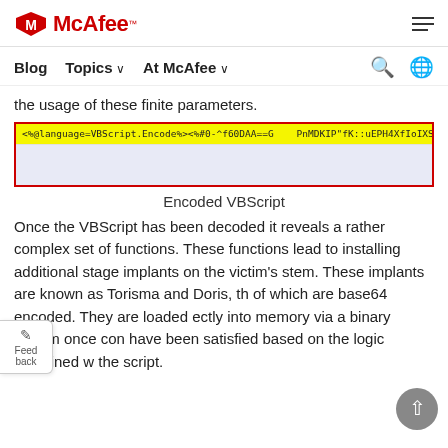[Figure (logo): McAfee logo with red shield icon and red bold text 'McAfee' with TM mark, hamburger menu icon on the right]
Blog   Topics ∨   At McAfee ∨
the usage of these finite parameters.
[Figure (screenshot): Code block with red border and blue background showing encoded VBScript line: <%@language=VBScript.Encode%><%#0-^f60DAA==G    PnMDKIP"fK::uEPH4XfIoIXS3r@   P/D.ixtn]
Encoded VBScript
Once the VBScript has been decoded it reveals a rather complex set of functions. These functions lead to installing additional stage implants on the victim's stem. These implants are known as Torisma and Doris, th of which are base64 encoded. They are loaded ectly into memory via a binary stream once con have been satisfied based on the logic contained w the script.